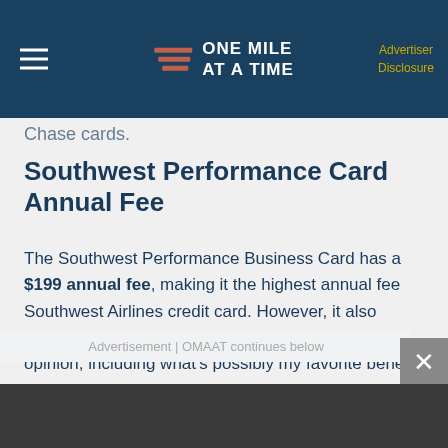ONE MILE AT A TIME — Advertiser Disclosure
Chase cards.
Southwest Performance Card Annual Fee
The Southwest Performance Business Card has a $199 annual fee, making it the highest annual fee Southwest Airlines credit card. However, it also comes with plenty of perks that justify it, in my opinion, including what's possibly my favorite benefit offered by any Southwest Rapid Rewards credit card ever.
Advertisement | OMAAT continues below